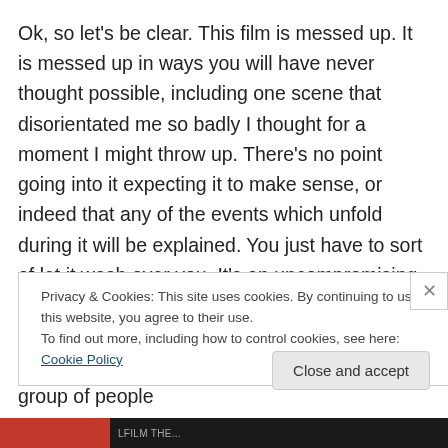Ok, so let's be clear. This film is messed up. It is messed up in ways you will have never thought possible, including one scene that disorientated me so badly I thought for a moment I might throw up. There's no point going into it expecting it to make sense, or indeed that any of the events which unfold during it will be explained. You just have to sort of let it wash over you. It's an uncompromising piece of film-making with a singular vision. One of the things I love about it – there are too many to list individually – is that at some point a group of people
Privacy & Cookies: This site uses cookies. By continuing to use this website, you agree to their use.
To find out more, including how to control cookies, see here: Cookie Policy
Close and accept